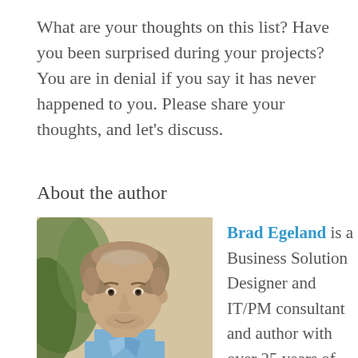What are your thoughts on this list? Have you been surprised during your projects? You are in denial if you say it has never happened to you. Please share your thoughts, and let's discuss.
About the author
[Figure (photo): Headshot of Brad Egeland, a middle-aged man with light brown hair wearing a light blue shirt, photographed outdoors with green foliage in the background.]
Brad Egeland is a Business Solution Designer and IT/PM consultant and author with over 25 years of software